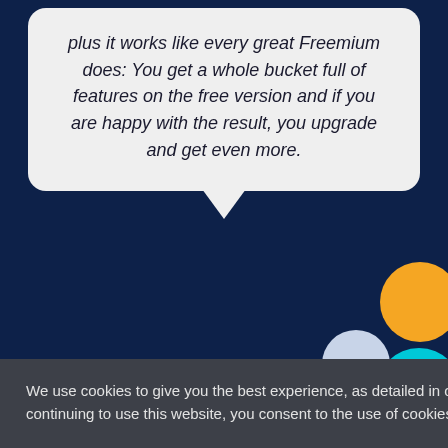plus it works like every great Freemium does: You get a whole bucket full of features on the free version and if you are happy with the result, you upgrade and get even more.
[Figure (photo): Circular avatar photo of Ben Pines, a young man with dark hair and beard, wearing a dark red shirt, with hand near chin]
Ben Pines
elementor.com
We use cookies to give you the best experience, as detailed in our privacy policy. By continuing to use this website, you consent to the use of cookies.